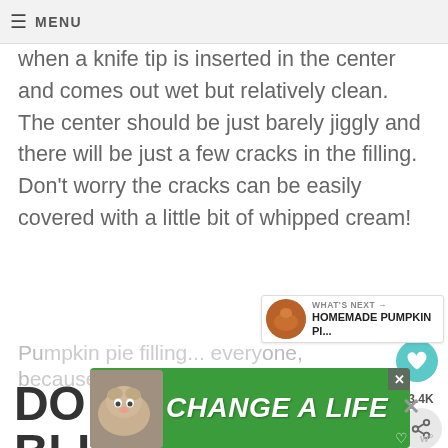≡ MENU
when a knife tip is inserted in the center and comes out wet but relatively clean. The center should be just barely jiggly and there will be just a few cracks in the filling. Don't worry the cracks can be easily covered with a little bit of whipped cream!
DO I NEED TO BLIND BAKE THE PUMPKIN PIE CRUST?
[Figure (other): Circular teal heart/favorite button icon]
[Figure (other): Share button with 3.4K count]
[Figure (other): What's Next banner: Homemade Pumpkin Pi... with thumbnail]
Pu... hi... one, b...
[Figure (other): Advertisement banner: 'Change a Life' with dog image on green background]